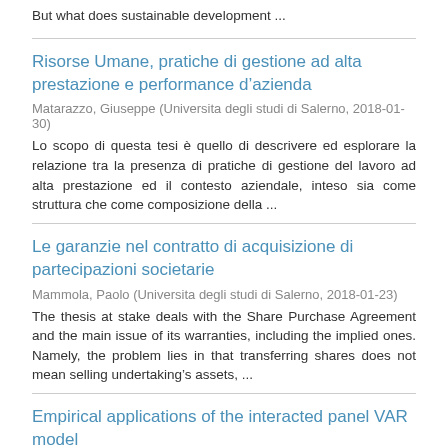But what does sustainable development ...
Risorse Umane, pratiche di gestione ad alta prestazione e performance d’azienda
Matarazzo, Giuseppe (Universita degli studi di Salerno, 2018-01-30)
Lo scopo di questa tesi è quello di descrivere ed esplorare la relazione tra la presenza di pratiche di gestione del lavoro ad alta prestazione ed il contesto aziendale, inteso sia come struttura che come composizione della ...
Le garanzie nel contratto di acquisizione di partecipazioni societarie
Mammola, Paolo (Universita degli studi di Salerno, 2018-01-23)
The thesis at stake deals with the Share Purchase Agreement and the main issue of its warranties, including the implied ones. Namely, the problem lies in that transferring shares does not mean selling undertaking’s assets, ...
Empirical applications of the interacted panel VAR model
Di Serio, Mario (Universita degli studi di Salerno, 2018-06-15)
The Vector Autoregressive (VAR) Models can be considered as a dynamic multivariate extension of the univariate autoregressive